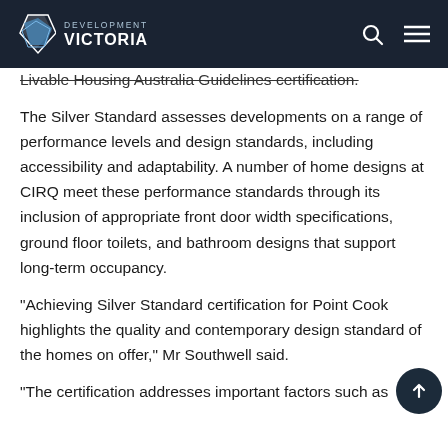Development Victoria
Livable Housing Australia Guidelines certification.
The Silver Standard assesses developments on a range of performance levels and design standards, including accessibility and adaptability. A number of home designs at CIRQ meet these performance standards through its inclusion of appropriate front door width specifications, ground floor toilets, and bathroom designs that support long-term occupancy.
"Achieving Silver Standard certification for Point Cook highlights the quality and contemporary design standard of the homes on offer," Mr Southwell said.
"The certification addresses important factors such as